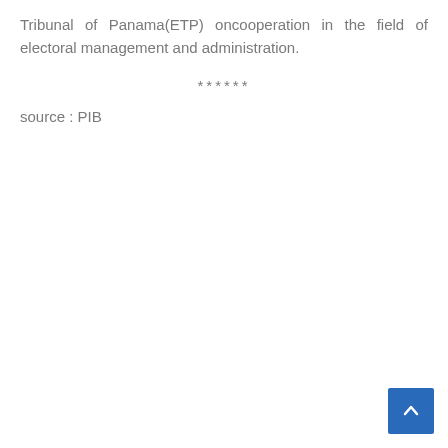Tribunal of Panama(ETP) oncooperation in the field of electoral management and administration.
******
source : PIB